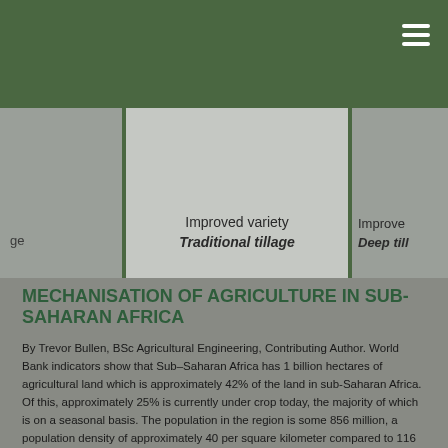[Figure (photo): Image strip showing three panels of agricultural scenes with text labels: left panel partially shows label 'age', center panel shows 'Improved variety' and 'Traditional tillage', right panel partially shows 'Improve' and 'Deep till']
MECHANISATION OF AGRICULTURE IN SUB-SAHARAN AFRICA
By Trevor Bullen, BSc Agricultural Engineering, Contributing Author. World Bank indicators show that Sub-Saharan Africa has 1 billion hectares of agricultural land which is approximately 42% of the land in sub-Saharan Africa. Of this, approximately 25% is currently under crop today, the majority of which is on a seasonal basis. The population in the region is some 856 million, a population density of approximately 40 per square kilometer compared to 116 in Europe. The numbers above could suggest that there [...]